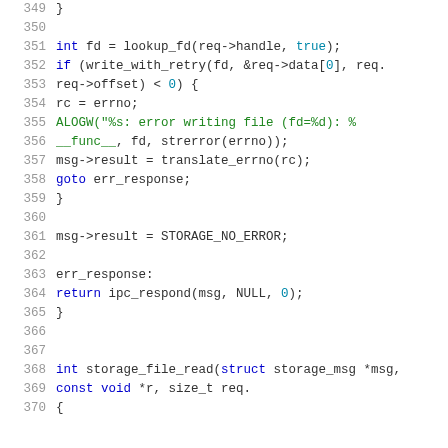Source code listing, lines 349-370, C programming language file I/O and IPC code